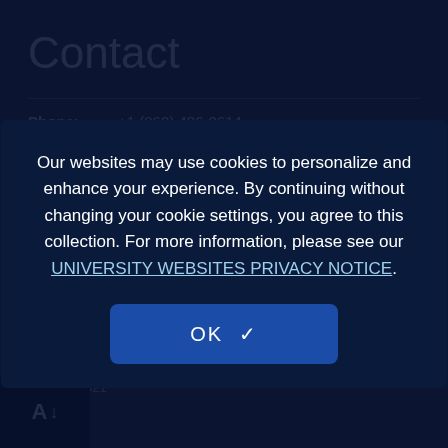Contact
Phone: +1 (860) 486-0614
Address: University of Connecticut, U-1240
2100 Hillside Road, Storrs, CT 06269-1240
Recent Posts
Our websites may use cookies to personalize and enhance your experience. By continuing without changing your cookie settings, you agree to this collection. For more information, please see our UNIVERSITY WEBSITES PRIVACY NOTICE.
OK ✓